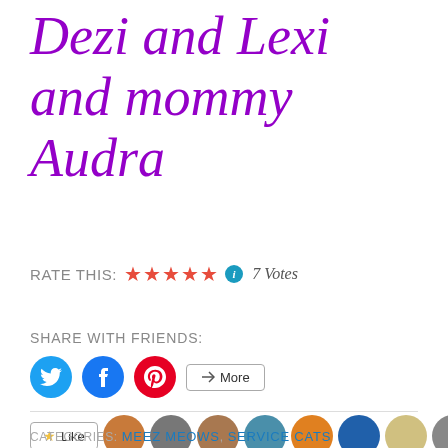Dezi and Lexi and mommy Audra
RATE THIS: ★★★★★ ℹ 7 Votes
SHARE WITH FRIENDS:
9 bloggers like this.
CATEGORIES: MEEZ MEOWS, SERVICE CATS